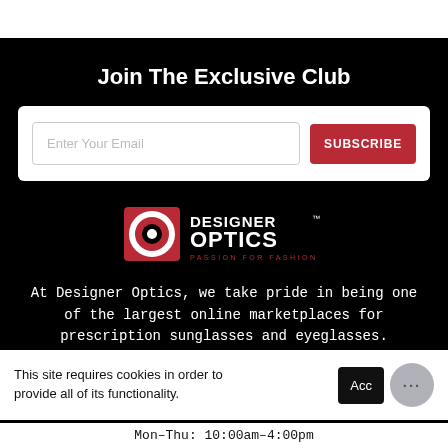Join The Exclusive Club
[Figure (screenshot): Email subscription input field with placeholder 'Enter Your Email' and a red SUBSCRIBE button]
[Figure (logo): Designer Optics logo — red square with white circle/ring icon, text 'DESIGNER OPTICS' and tagline 'PASSION FOR FASHION']
At Designer Optics, we take pride in being one of the largest online marketplaces for prescription sunglasses and eyeglasses.
This site requires cookies in order to provide all of its functionality.
Mon–Thu: 10:00am–4:00pm